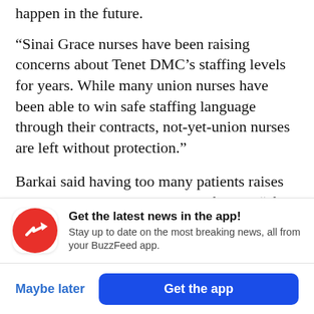happen in the future.
“Sinai Grace nurses have been raising concerns about Tenet DMC’s staffing levels for years. While many union nurses have been able to win safe staffing language through their contracts, not-yet-union nurses are left without protection.”
Barkai said having too many patients raises both legal and ethical concerns for her. “If you have a patient in your care, you’re responsible for that patient,” she said. “You sign your name on these
[Figure (infographic): BuzzFeed app notification banner with red circular icon showing upward arrow, bold title 'Get the latest news in the app!', subtitle 'Stay up to date on the most breaking news, all from your BuzzFeed app.']
Maybe later
Get the app